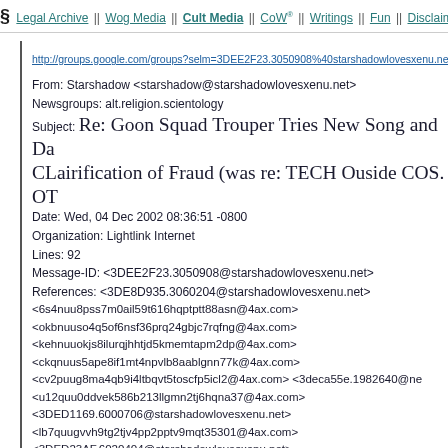§ Legal Archive || Wog Media || Cult Media || CoW ® || Writings || Fun || Disclaimer
http://groups.google.com/groups?selm=3DEE2F23.3050908%40starshadowlovesxenu.net&oe=UTF
From: Starshadow <starshadow@starshadowlovesxenu.net>
Newsgroups: alt.religion.scientology
Subject: Re: Goon Squad Trouper Tries New Song and Da CLairification of Fraud (was re: TECH Ouside COS. OT
Date: Wed, 04 Dec 2002 08:36:51 -0800
Organization: Lightlink Internet
Lines: 92
Message-ID: <3DEE2F23.3050908@starshadowlovesxenu.net>
References: <3DE8D935.3060204@starshadowlovesxenu.net>
<6s4nuu8pss7m0ail59t616hqptptt88asn@4ax.com>
<okbnuuso4q5of6nsf36prq24gbjc7rqfng@4ax.com>
<kehnuuokjs8ilurqjhhtjd5kmemtapm2dp@4ax.com>
<ckqnuus5ape8if1mt4npvlb8aablgnn77k@4ax.com>
<cv2puug8ma4qb9i4ltbqvt5toscfp5icl2@4ax.com> <3deca55e.1982640@ne
<u12quu0ddvek586b213llgmn2tj6hqna37@4ax.com>
<3DED1169.6000706@starshadowlovesxenu.net>
<lb7quugvvh9tg2tjv4pp2pptv9mqt35301@4ax.com>
<3DED23AF.6020404@starshadowlovesxenu.net>
<18mruukcttkkhhnhqrm7ok2lgvn2l4j036k@4ax.com> <3dedf984.4476476@
<3DEE0AA8.4000203@starshadowlovesxenu.net> <asl9on$sa4gp$1@ID-1